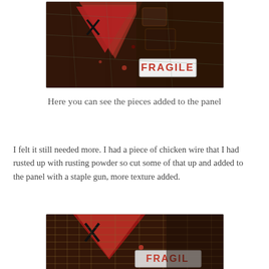[Figure (photo): Top cropped photo of a mixed-media art panel featuring red and dark tones, a triangle shape with an X, and a 'FRAGILE' label sticker, with textures of wire, rust, and mixed materials.]
Here you can see the pieces added to the panel
I felt it still needed more. I had a piece of chicken wire that I had rusted up with rusting powder so cut some of that up and added to the panel with a staple gun, more texture added.
[Figure (photo): Bottom cropped photo of the same mixed-media art panel, now showing additional chicken wire texture added, closer view with 'FRAGILE' text visible and rusted wire mesh across the surface.]